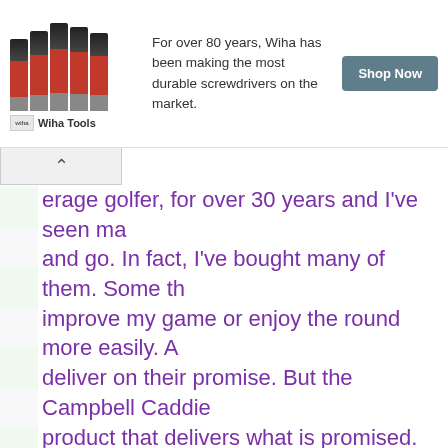[Figure (other): Advertisement banner for Wiha Tools showing screwdrivers with text 'For over 80 years, Wiha has been making the most durable screwdrivers on the market.' and a 'Shop Now' button]
erage golfer, for over 30 years and I've seen ma and go. In fact, I've bought many of them. Some th improve my game or enjoy the round more easily. A deliver on their promise. But the Campbell Caddie product that delivers what is promised. My Campb you enjoy your rounds as a welcomed addition to y addresses three common issues for most golfers; w sandy grips, clubs left behind, and excessive bend
Disclaimer: I received one or more of the products or se above for free in the hope that I would mention it on my only recommend products or services I use personally a good for my readers. I am disclosing this in accordance Trade Commission's 16 CFR, Part 255: "Guides Conce